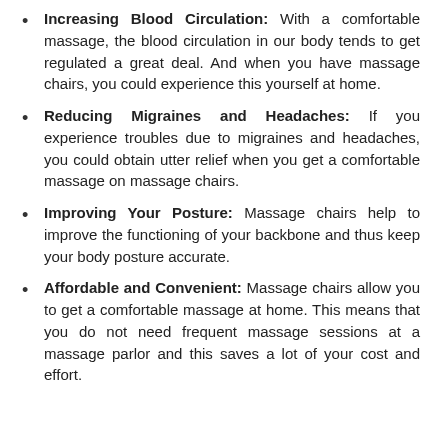Increasing Blood Circulation: With a comfortable massage, the blood circulation in our body tends to get regulated a great deal. And when you have massage chairs, you could experience this yourself at home.
Reducing Migraines and Headaches: If you experience troubles due to migraines and headaches, you could obtain utter relief when you get a comfortable massage on massage chairs.
Improving Your Posture: Massage chairs help to improve the functioning of your backbone and thus keep your body posture accurate.
Affordable and Convenient: Massage chairs allow you to get a comfortable massage at home. This means that you do not need frequent massage sessions at a massage parlor and this saves a lot of your cost and effort.